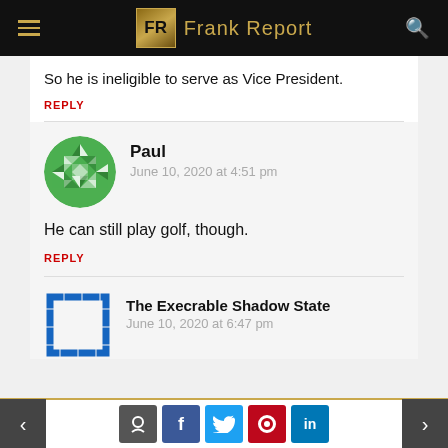FR Frank Report
So he is ineligible to serve as Vice President.
REPLY
[Figure (illustration): Green geometric circular avatar for user Paul]
Paul
June 10, 2020 at 4:51 pm
He can still play golf, though.
REPLY
[Figure (illustration): Blue dashed rectangle avatar for user The Execrable Shadow State]
The Execrable Shadow State
June 10, 2020 at 6:47 pm
< [comment] [f] [tweet] [pinterest] [in] >